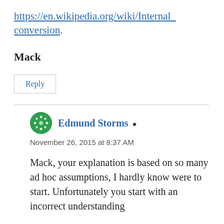https://en.wikipedia.org/wiki/Internal_conversion.
Mack
Reply
Edmund Storms
November 26, 2015 at 8:37 AM
Mack, your explanation is based on so many ad hoc assumptions, I hardly know were to start. Unfortunately you start with an incorrect understanding of how the I...